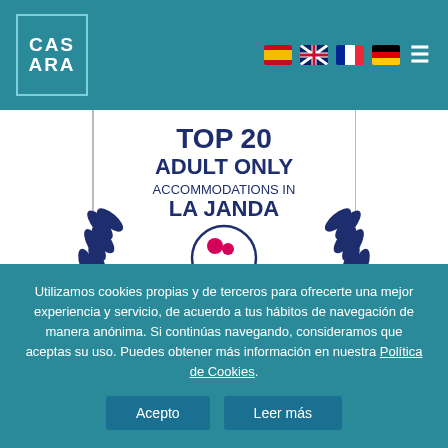[Figure (logo): CASARA logo - white text on teal background with border]
[Figure (illustration): Flag icons for Spain, UK, France, Germany language selectors and hamburger menu icon]
[Figure (illustration): TOP 20 ADULT ONLY ACCOMMODATIONS IN LA JANDA 2020 CASARA SIETE award badge with laurel wreath and couple silhouette circle icon, on white background with vertical border lines]
Utilizamos cookies propias y de terceros para ofrecerte una mejor experiencia y servicio, de acuerdo a tus hábitos de navegación de manera anónima. Si continúas navegando, consideramos que aceptas su uso. Puedes obtener más información en nuestra Política de Cookies.
Acepto
Leer más